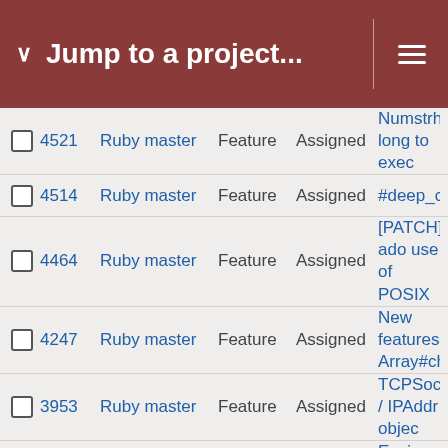Jump to a project...
|  | # | Project | Type | Status | Subject |
| --- | --- | --- | --- | --- | --- |
|  | 4521 | Ruby master | Feature | Assigned | NumstrhodeZ long to exec |
|  | 4514 | Ruby master | Feature | Assigned | #deep_clone |
|  | 4464 | Ruby master | Feature | Assigned | [PATCH] ado use of POSIX |
|  | 4247 | Ruby master | Feature | Assigned | New features Array#choice |
|  | 3953 | Ruby master | Feature | Assigned | TCPSocket / IPAddr objec |
|  | 3731 | Ruby master | Feature | Assigned | Easier Embe |
|  | 3608 | Ruby master | Feature | Assigned | Enhancing P lazy |
|  | 2631 | Ruby master | Feature | Assigned | Allow IO#rec |
|  | 2324 | Ruby master | Feature | Assigned | Dir instance |
|  | 2294 | Ruby master | Feature | Assigned | [PATCH] rub in coroutine recv on inhe |